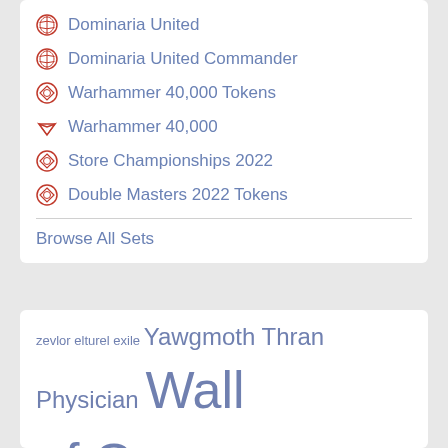Dominaria United
Dominaria United Commander
Warhammer 40,000 Tokens
Warhammer 40,000
Store Championships 2022
Double Masters 2022 Tokens
Browse All Sets
zevlor elturel exile Yawgmoth Thran Physician Wall of Omens Tournament Topps Tomb Raider tolarian scholar tivit seller of secrets Timeless witness Thragtusk The Wandering Emperor The Dark Telepathy